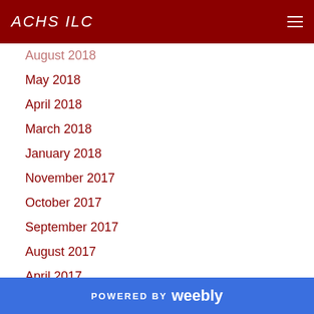ACHS ILC
August 2018
May 2018
April 2018
March 2018
January 2018
November 2017
October 2017
September 2017
August 2017
April 2017
March 2017
February 2017
January 2017
POWERED BY weebly